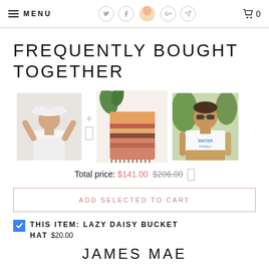MENU  0
FREQUENTLY BOUGHT TOGETHER
[Figure (photo): Three product photos in a row with plus separators: a woman in a white bucket hat and crop top, a colorful boho-style bag/tapestry, and a man in a white graphic t-shirt outdoors.]
Total price: $141.00  $206.00
ADD SELECTED TO CART
THIS ITEM: LAZY DAISY BUCKET HAT  $20.00
JAMES MAE